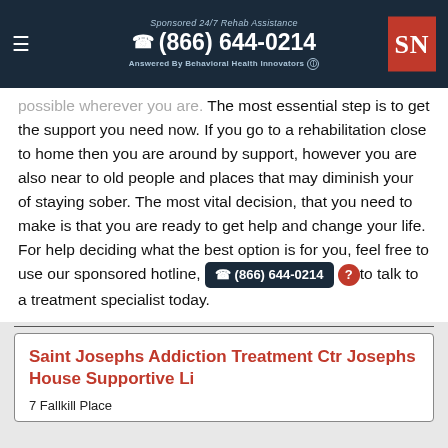Sponsored 24/7 Rehab Assistance
☎ (866) 644-0214
Answered By Behavioral Health Innovators
possible wherever you are. The most essential step is to get the support you need now. If you go to a rehabilitation close to home then you are around by support, however you are also near to old people and places that may diminish your of staying sober. The most vital decision, that you need to make is that you are ready to get help and change your life. For help deciding what the best option is for you, feel free to use our sponsored hotline, ☎ (866) 644-0214 to talk to a treatment specialist today.
Saint Josephs Addiction Treatment Ctr Josephs House Supportive Li
7 Fallkill Place